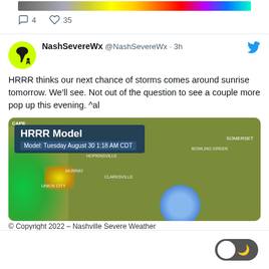[Figure (screenshot): Top portion of a tweet with a weather radar image strip and action icons showing 4 comments and 35 likes]
[Figure (screenshot): Tweet by NashSevereWx @NashSevereWx 3h ago with yellow-green tornado avatar and blue Twitter bird icon. Text reads: HRRR thinks our next chance of storms comes around sunrise tomorrow. We'll see. Not out of the question to see a couple more pop up this evening. ^al. Below is an HRRR Model weather map image.]
© Copyright 2022 – Nashville Severe Weather